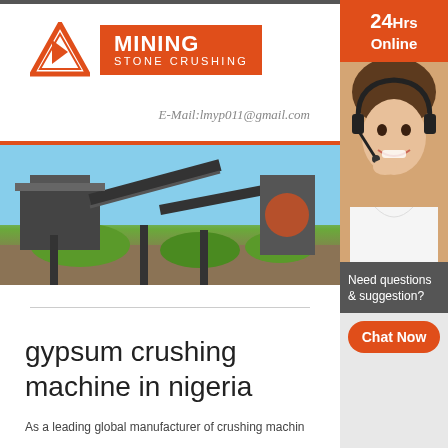[Figure (logo): Mining Stone Crushing logo with orange triangle and orange rectangle with white text]
E-Mail:lmyp011@gmail.com
[Figure (photo): Photo of industrial stone crushing / mining machinery with conveyor belts against a blue sky]
gypsum crushing machine in nigeria
As a leading global manufacturer of crushing machin
[Figure (photo): 24Hrs Online sidebar with woman wearing headset customer support photo]
Need questions & suggestion?
Chat Now